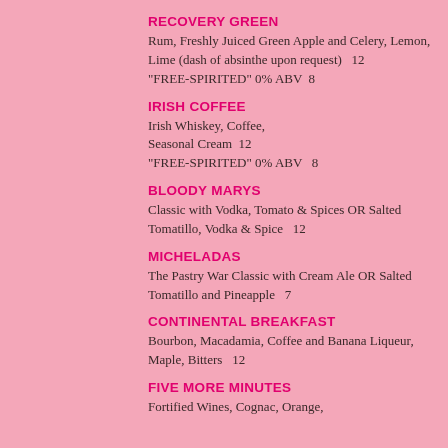RECOVERY GREEN
Rum, Freshly Juiced Green Apple and Celery, Lemon, Lime (dash of absinthe upon request)  12
"FREE-SPIRITED" 0% ABV  8
IRISH COFFEE
Irish Whiskey, Coffee, Seasonal Cream  12
"FREE-SPIRITED" 0% ABV  8
BLOODY MARYS
Classic with Vodka, Tomato & Spices OR Salted Tomatillo, Vodka & Spice  12
MICHELADAS
The Pastry War Classic with Cream Ale OR Salted Tomatillo and Pineapple  7
CONTINENTAL BREAKFAST
Bourbon, Macadamia, Coffee and Banana Liqueur, Maple, Bitters  12
FIVE MORE MINUTES
Fortified Wines, Cognac, Orange,